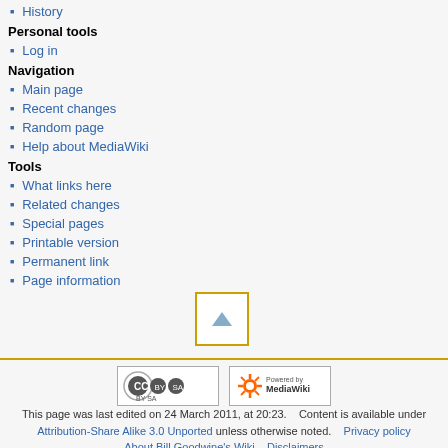History
Personal tools
Log in
Navigation
Main page
Recent changes
Random page
Help about MediaWiki
Tools
What links here
Related changes
Special pages
Printable version
Permanent link
Page information
[Figure (other): Scroll to top button with upward triangle arrow, bordered in gold/amber]
[Figure (logo): Creative Commons Attribution-ShareAlike license badge]
[Figure (logo): Powered by MediaWiki badge]
This page was last edited on 24 March 2011, at 20:23.    Content is available under Attribution-Share Alike 3.0 Unported unless otherwise noted.    Privacy policy    About Bill Goodwine's Wiki    Disclaimers